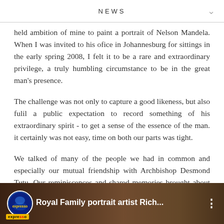NEWS
held ambition of mine to paint a portrait of Nelson Mandela. When I was invited to his ofice in Johannesburg for sittings in the early spring 2008, I felt it to be a rare and extraordinary privilege, a truly humbling circumstance to be in the great man's presence.
The challenge was not only to capture a good likeness, but also fulil a public expectation to record something of his extraordinary spirit - to get a sense of the essence of the man. it certainly was not easy, time on both our parts was tight.
We talked of many of the people we had in common and especially our mutual friendship with Archbishop Desmond Tutu. Our reminiscences and shared memories brought about an easy-going relationship to the sittings.
[Figure (screenshot): Video thumbnail with expresso logo badge and title 'Royal Family portrait artist Rich...' with three-dot menu icon on dark background]